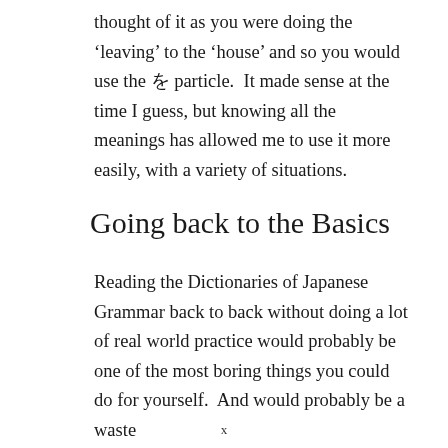thought of it as you were doing the 'leaving' to the 'house' and so you would use the を particle.  It made sense at the time I guess, but knowing all the meanings has allowed me to use it more easily, with a variety of situations.
Going back to the Basics
Reading the Dictionaries of Japanese Grammar back to back without doing a lot of real world practice would probably be one of the most boring things you could do for yourself.  And would probably be a waste
x